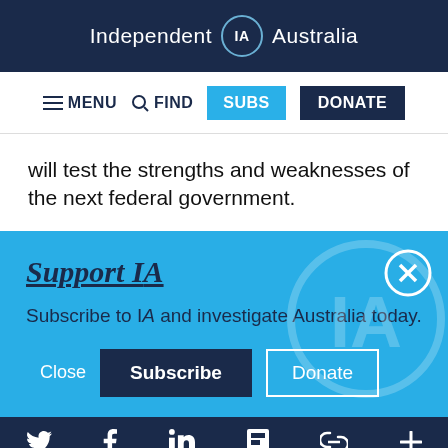Independent IA Australia
MENU  FIND  SUBS  DONATE
will test the strengths and weaknesses of the next federal government.
Support IA
Subscribe to IA and investigate Australia today.
Close  Subscribe  Donate
Social icons: Twitter, Facebook, LinkedIn, Flipboard, Link, Plus